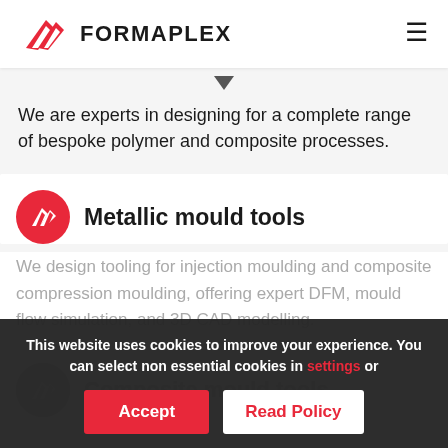[Figure (logo): Formaplex logo with red chevron/wing mark and FORMAPLEX wordmark in bold black]
We are experts in designing for a complete range of bespoke polymer and composite processes.
Metallic mould tools
We design tooling for injection moulding and composite compression moulding, offering expert DFM, mould flow simulation, and 3D CAD modelling.
Composite mould tools
This website uses cookies to improve your experience. You can select non essential cookies in settings or
Accept
Read Policy